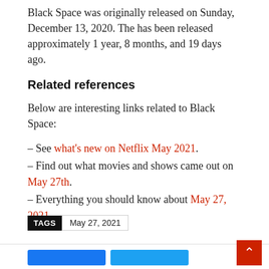Black Space was originally released on Sunday, December 13, 2020. The has been released approximately 1 year, 8 months, and 19 days ago.
Related references
Below are interesting links related to Black Space:
– See what's new on Netflix May 2021.
– Find out what movies and shows came out on May 27th.
– Everything you should know about May 27, 2021.
TAGS  May 27, 2021